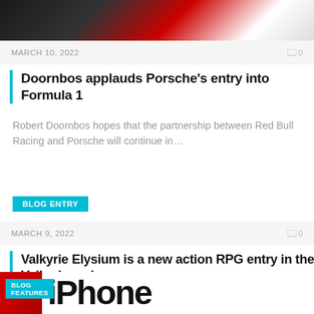[Figure (photo): Top portion of a racing car with red and white livery]
MARCH 10, 2022    0
Doornbos applauds Porsche's entry into Formula 1
Robert Doornbos hopes that the partnership between Red Bull Racing and Porsche will continue in...
BLOG ENTRY
MARCH 9, 2022    0
Valkyrie Elysium is a new action RPG entry in the Valkyrie series
The classic series is back with an action-focused 3D entry The Valkyries are back. Square...
[Figure (photo): Bottom section showing BLOG FEATURES badge and iPhone logo text]